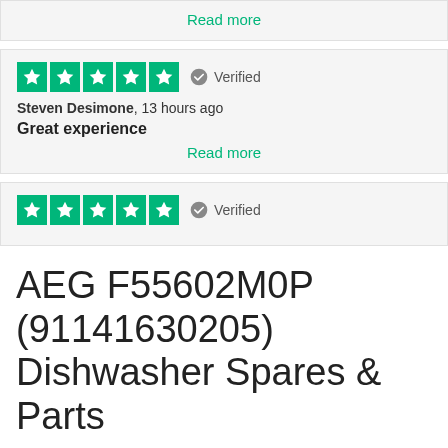Read more
[Figure (other): 5-star Trustpilot rating with Verified badge - review card for Steven Desimone]
Steven Desimone, 13 hours ago
Great experience
Read more
[Figure (other): 5-star Trustpilot rating with Verified badge - partial review card]
AEG F55602M0P (91141630205) Dishwasher Spares & Parts